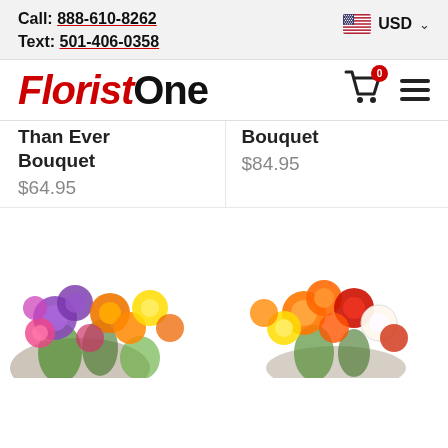Call: 888-610-8262  Text: 501-406-0358  USD
FloristOne
Than Ever Bouquet $64.95
Bouquet $84.95
[Figure (photo): Colorful flower bouquet with mixed purple, orange, yellow and green flowers on left side]
[Figure (photo): Colorful flower bouquet with mixed orange, red, yellow and white roses on right side]